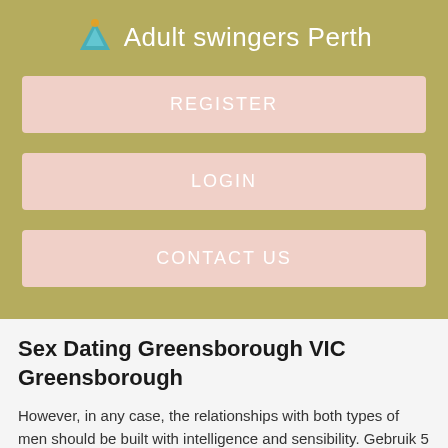Adult swingers Perth
[Figure (other): Navigation button: REGISTER]
[Figure (other): Navigation button: LOGIN]
[Figure (other): Navigation button: CONTACT US]
Sex Dating Greensborough VIC Greensborough
However, in any case, the relationships with both types of men should be built with intelligence and sensibility. Gebruik 5 of meer karakters. Sex and dating offerings on this Greensborough, State of Victoria page help you hook up for hot sex quickly with sexy swingers, singles, housewives, Greehsborough and sluts in